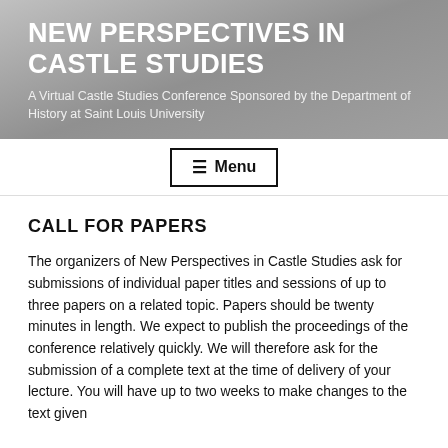NEW PERSPECTIVES IN CASTLE STUDIES
A Virtual Castle Studies Conference Sponsored by the Department of History at Saint Louis University
CALL FOR PAPERS
The organizers of New Perspectives in Castle Studies ask for submissions of individual paper titles and sessions of up to three papers on a related topic. Papers should be twenty minutes in length. We expect to publish the proceedings of the conference relatively quickly. We will therefore ask for the submission of a complete text at the time of delivery of your lecture. You will have up to two weeks to make changes to the text given